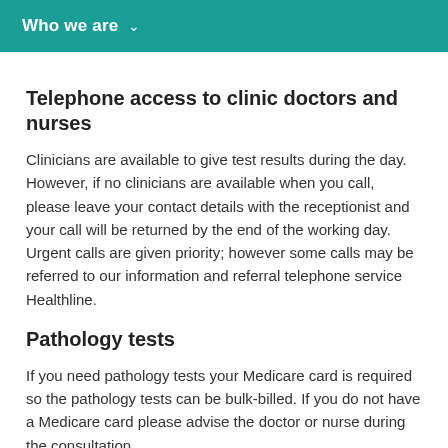Who we are
Telephone access to clinic doctors and nurses
Clinicians are available to give test results during the day. However, if no clinicians are available when you call, please leave your contact details with the receptionist and your call will be returned by the end of the working day. Urgent calls are given priority; however some calls may be referred to our information and referral telephone service Healthline.
Pathology tests
If you need pathology tests your Medicare card is required so the pathology tests can be bulk-billed. If you do not have a Medicare card please advise the doctor or nurse during the consultation.